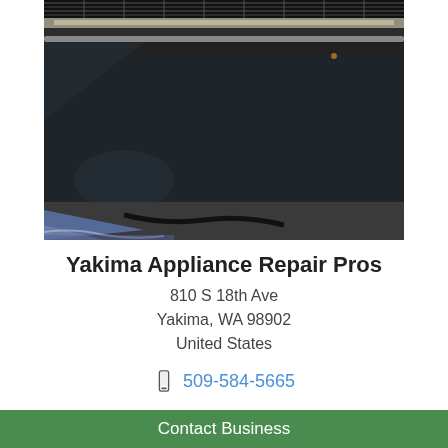[Figure (photo): Close-up photo of a black oven interior showing the door gasket, rack, and interior surfaces from an angled perspective. The image shows dark metallic surfaces with an oven rack visible at the top.]
Yakima Appliance Repair Pros
810 S 18th Ave
Yakima, WA 98902
United States
509-584-5665
Contact Business